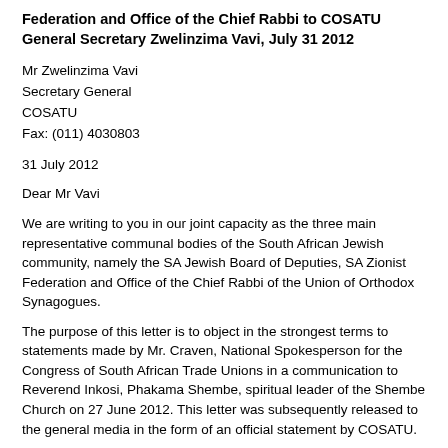Federation and Office of the Chief Rabbi to COSATU General Secretary Zwelinzima Vavi, July 31 2012
Mr Zwelinzima Vavi
Secretary General
COSATU
Fax: (011) 4030803
31 July 2012
Dear Mr Vavi
We are writing to you in our joint capacity as the three main representative communal bodies of the South African Jewish community, namely the SA Jewish Board of Deputies, SA Zionist Federation and Office of the Chief Rabbi of the Union of Orthodox Synagogues.
The purpose of this letter is to object in the strongest terms to statements made by Mr. Craven, National Spokesperson for the Congress of South African Trade Unions in a communication to Reverend Inkosi, Phakama Shembe, spiritual leader of the Shembe Church on 27 June 2012. This letter was subsequently released to the general media in the form of an official statement by COSATU.